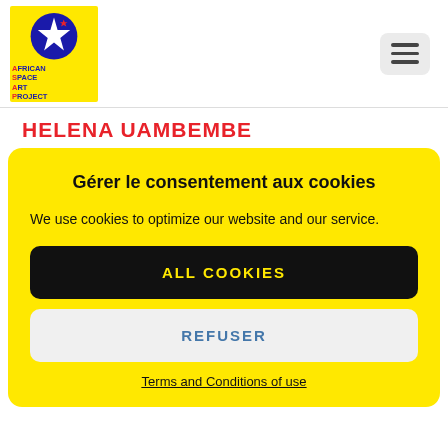[Figure (logo): African Space Art Project logo: yellow background with blue circle containing a white star shape, text 'AFRICAN SPACE ART PROJECT' in bold]
[Figure (other): Hamburger menu icon (three horizontal lines) on a light gray rounded rectangle background]
HELENA UAMBEMBE
Gérer le consentement aux cookies
We use cookies to optimize our website and our service.
ALL COOKIES
REFUSER
Terms and Conditions of use